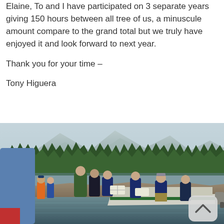Elaine, To and I have participated on 3 separate years giving 150 hours between all tree of us, a minuscule amount compare to the grand total but we truly have enjoyed it and look forward to next year.

Thank you for your time –

Tony Higuera
[Figure (photo): Outdoor scene at a lake or river shoreline. Several people in dark clothing stand on the shore near an aluminum motorboat. Mountains and evergreen trees are visible in the background. A child in a blue jacket is visible in the foreground on the left. People appear to be unloading or loading white crates from the boat.]